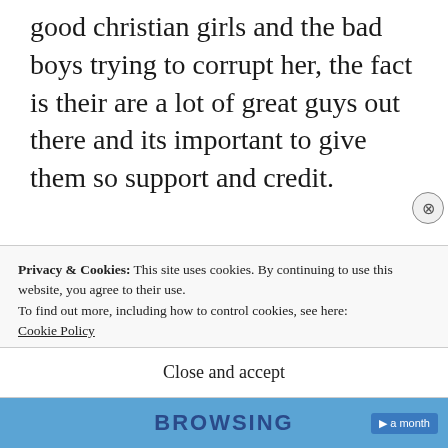good christian girls and the bad boys trying to corrupt her, the fact is their are a lot of great guys out there and its important to give them so support and credit.
🙂
★ Like
Privacy & Cookies: This site uses cookies. By continuing to use this website, you agree to their use.
To find out more, including how to control cookies, see here:
Cookie Policy
Close and accept
BROWSING